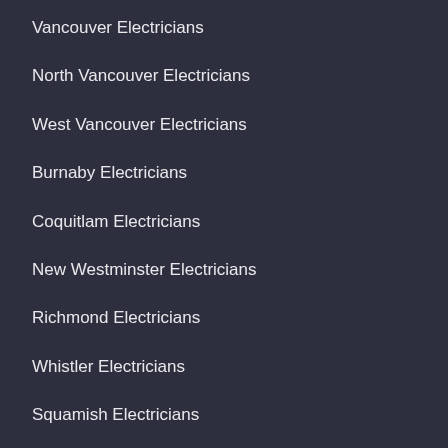Vancouver Electricians
North Vancouver Electricians
West Vancouver Electricians
Burnaby Electricians
Coquitlam Electricians
New Westminster Electricians
Richmond Electricians
Whistler Electricians
Squamish Electricians
RESIDENTIAL SERVICES
Solar Panels